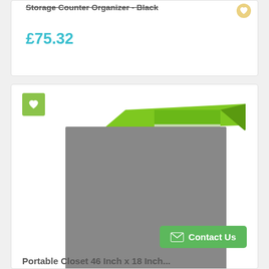Storage Counter Organizer - Black
£75.32
[Figure (photo): Product photo of a portable closet/storage unit with green top and grey body]
Portable Closet 46 Inch x 18 Inch...